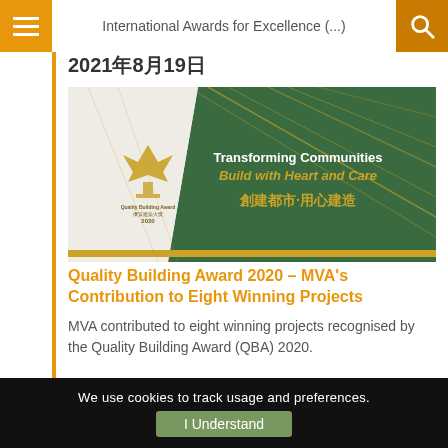International Awards for Excellence (...)
2021年8月19日
[Figure (photo): Quality Building Award 2020 banner image with green and gold design, showing 'Transforming Communities Build with Heart and Care' and Chinese text '創建都市·用心建造', Quality Building Award 2020 logo on left]
Quality Building Award 2020 – MVA's Contribution to Eight Winning Projects
MVA contributed to eight winning projects recognised by the Quality Building Award (QBA) 2020.
We use cookies to track usage and preferences.